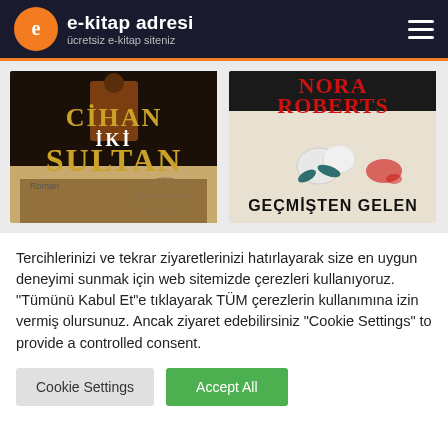e-kitap adresi — ücretsiz e-kitap siteniz
[Figure (illustration): Book cover: Cihan İki Sultan – dark background with golden Ottoman-style text, figure in traditional dress, battle scene at bottom]
[Figure (illustration): Book cover: Nora Roberts – Geçmişten Gelen – red author name on dark background with white flowers and bloodstain]
Tercihlerinizi ve tekrar ziyaretlerinizi hatırlayarak size en uygun deneyimi sunmak için web sitemizde çerezleri kullanıyoruz. "Tümünü Kabul Et"e tıklayarak TÜM çerezlerin kullanımına izin vermiş olursunuz. Ancak ziyaret edebilirsiniz "Cookie Settings" to provide a controlled consent.
Cookie Settings
Accept All